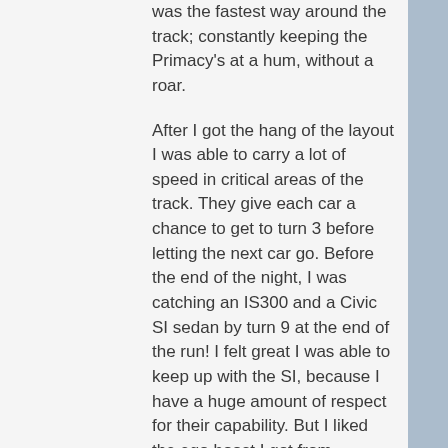was the fastest way around the track; constantly keeping the Primacy's at a hum, without a roar.
After I got the hang of the layout I was able to carry a lot of speed in critical areas of the track. They give each car a chance to get to turn 3 before letting the next car go. Before the end of the night, I was catching an IS300 and a Civic SI sedan by turn 9 at the end of the run! I felt great I was able to keep up with the SI, because I have a huge amount of respect for their capability. But I liked the ego boost I got from catching up. My buddy in the stands said I looked faster than the GTI, Gen Coupe, Civic SI, and